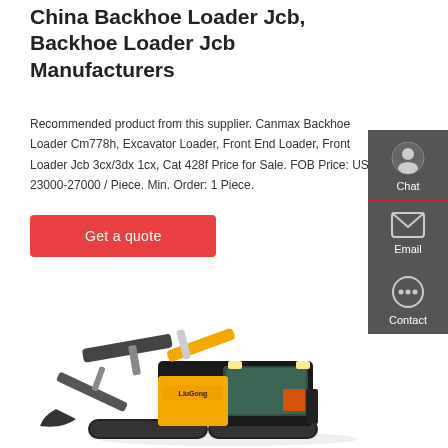China Backhoe Loader Jcb, Backhoe Loader Jcb Manufacturers
Recommended product from this supplier. Canmax Backhoe Loader Cm778h, Excavator Loader, Front End Loader, Front Loader Jcb 3cx/3dx 1cx, Cat 428f Price for Sale. FOB Price: US $ 23000-27000 / Piece. Min. Order: 1 Piece.
Get a quote
[Figure (photo): Yellow LiuGong mini excavator/backhoe loader on white background]
[Figure (illustration): Sidebar with Chat, Email, and Contact icons on dark grey background]